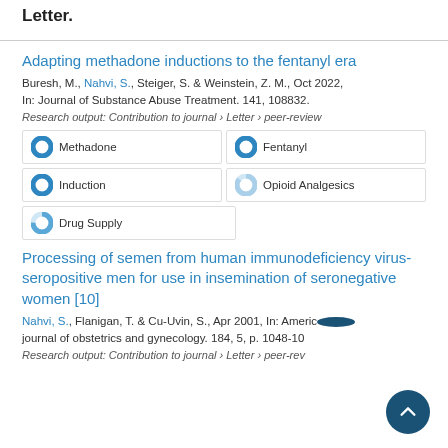Letter.
Adapting methadone inductions to the fentanyl era
Buresh, M., Nahvi, S., Steiger, S. & Weinstein, Z. M., Oct 2022, In: Journal of Substance Abuse Treatment. 141, 108832.
Research output: Contribution to journal › Letter › peer-review
Methadone
Fentanyl
Induction
Opioid Analgesics
Drug Supply
Processing of semen from human immunodeficiency virus-seropositive men for use in insemination of seronegative women [10]
Nahvi, S., Flanigan, T. & Cu-Uvin, S., Apr 2001, In: American journal of obstetrics and gynecology. 184, 5, p. 1048-10...
Research output: Contribution to journal › Letter › peer-review